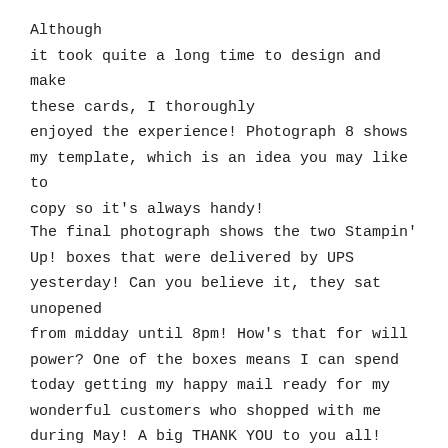Although it took quite a long time to design and make these cards, I thoroughly enjoyed the experience! Photograph 8 shows my template, which is an idea you may like to copy so it's always handy!
The final photograph shows the two Stampin' Up! boxes that were delivered by UPS yesterday! Can you believe it, they sat unopened from midday until 8pm! How's that for will power? One of the boxes means I can spend today getting my happy mail ready for my wonderful customers who shopped with me during May! A big THANK YOU to you all!